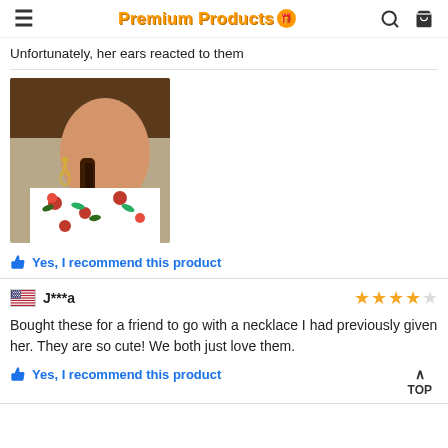Premium Products
Unfortunately, her ears reacted to them
[Figure (photo): Photo of a girl wearing dangling earrings, wearing a floral shirt with red flowers and green leaves, with braided hair]
👍 Yes, I recommend this product
J***a ★★★★☆
Bought these for a friend to go with a necklace I had previously given her. They are so cute! We both just love them.
👍 Yes, I recommend this product